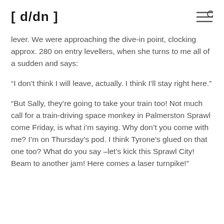[ d/dn ]
lever. We were approaching the dive-in point, clocking approx. 280 on entry levellers, when she turns to me all of a sudden and says:
“I don’t think I will leave, actually. I think I’ll stay right here.”
“But Sally, they’re going to take your train too! Not much call for a train-driving space monkey in Palmerston Sprawl come Friday, is what i’m saying. Why don’t you come with me? I’m on Thursday’s pod. I think Tyrone’s glued on that one too? What do you say –let’s kick this Sprawl City! Beam to another jam! Here comes a laser turnpike!”